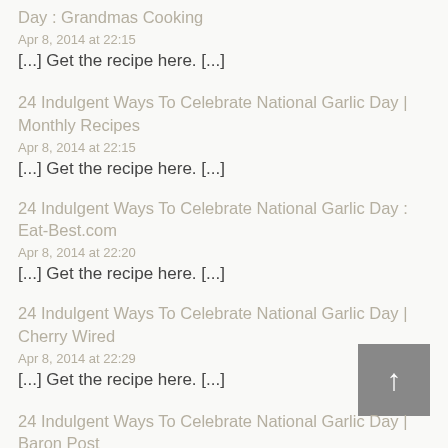Day : Grandmas Cooking
Apr 8, 2014 at 22:15
[...] Get the recipe here. [...]
24 Indulgent Ways To Celebrate National Garlic Day | Monthly Recipes
Apr 8, 2014 at 22:15
[...] Get the recipe here. [...]
24 Indulgent Ways To Celebrate National Garlic Day : Eat-Best.com
Apr 8, 2014 at 22:20
[...] Get the recipe here. [...]
24 Indulgent Ways To Celebrate National Garlic Day | Cherry Wired
Apr 8, 2014 at 22:29
[...] Get the recipe here. [...]
24 Indulgent Ways To Celebrate National Garlic Day | Baron Post